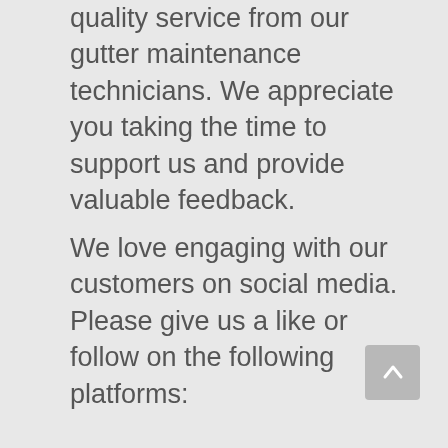quality service from our gutter maintenance technicians. We appreciate you taking the time to support us and provide valuable feedback.
We love engaging with our customers on social media. Please give us a like or follow on the following platforms:
[Figure (logo): Nextdoor logo — green square with white lowercase 'n' lettermark]
[Figure (logo): Facebook logo — blue square with white 'f' lettermark]
Consider reviewing our gutter cleaning and